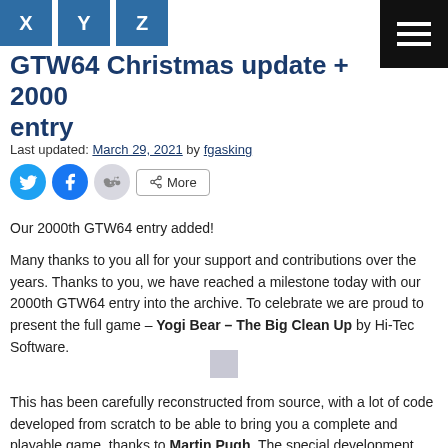X Y Z [navigation tiles]
GTW64 Christmas update + 2000 entry
Last updated: March 29, 2021 by fgasking
[Figure (infographic): Social share buttons: Twitter, Facebook, Reddit circles and a More button]
Our 2000th GTW64 entry added!
Many thanks to you all for your support and contributions over the years. Thanks to you, we have reached a milestone today with our 2000th GTW64 entry into the archive. To celebrate we are proud to present the full game – Yogi Bear – The Big Clean Up by Hi-Tec Software.
[Figure (photo): Small image placeholder (game screenshot or thumbnail)]
This has been carefully reconstructed from source, with a lot of code developed from scratch to be able to bring you a complete and playable game, thanks to Martin Pugh. The special development also